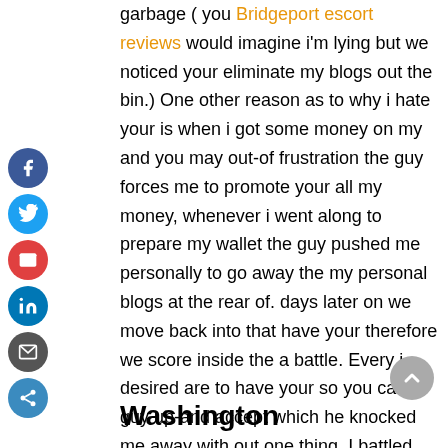garbage ( you Bridgeport escort reviews would imagine i'm lying but we noticed your eliminate my blogs out the bin.) One other reason as to why i hate your is when i got some money on my and you may out-of frustration the guy forces me to promote your all my money, whenever i went along to prepare my wallet the guy pushed me personally to go away the my personal blogs at the rear of. days later on we move back into that have your therefore we score inside the a battle. Every i desired are to have your so you can guy up-and accept which he knocked me away with out one thing. I battled and all used to do is shout during the him and the guy slapped me personally and put his hand doing my personal shoulder therefore i already been punching and throwing to track down your away from myself . i just need aside i'm over.
Washington